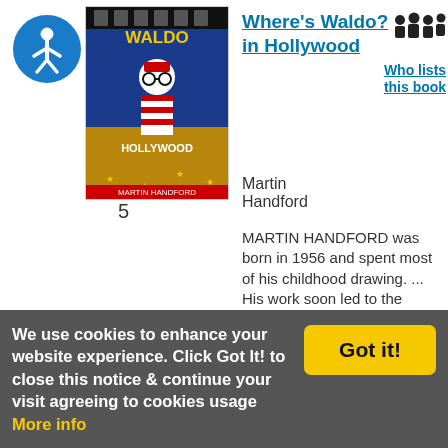[Figure (illustration): Accessibility icon - blue circle with white person figure]
[Figure (photo): Book cover of Where's Waldo? in Hollywood by Martin Handford]
5
Where's Waldo? in Hollywood
[Figure (illustration): People/group icon representing Who lists this book]
Who lists this book
Martin Handford
MARTIN HANDFORD was born in 1956 and spent most of his childhood drawing. ... His work soon led to the publication of Where s Waldo?, the first book in his ...
Add this book into your
We use cookies to enhance your website experience. Click Got It! to close this notice & continue your visit agreeing to cookies usage
Got it!
More info